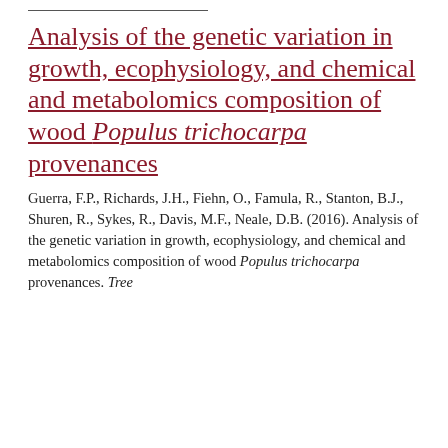Analysis of the genetic variation in growth, ecophysiology, and chemical and metabolomics composition of wood Populus trichocarpa provenances
Guerra, F.P., Richards, J.H., Fiehn, O., Famula, R., Stanton, B.J., Shuren, R., Sykes, R., Davis, M.F., Neale, D.B. (2016). Analysis of the genetic variation in growth, ecophysiology, and chemical and metabolomics composition of wood Populus trichocarpa provenances. Tree